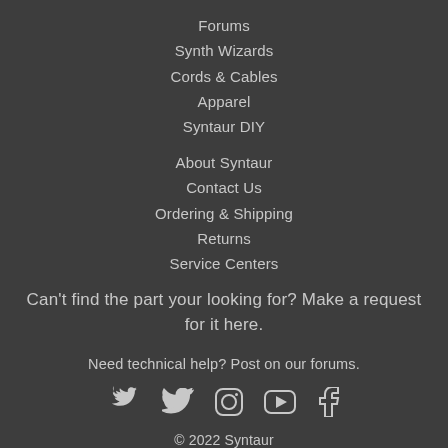Forums
Synth Wizards
Cords & Cables
Apparel
Syntaur DIY
About Syntaur
Contact Us
Ordering & Shipping
Returns
Service Centers
Can't find the part your looking for? Make a request for it here.
Need technical help? Post on our forums.
[Figure (illustration): Social media icons: Twitter, Instagram, YouTube, Facebook]
© 2022 Syntaur